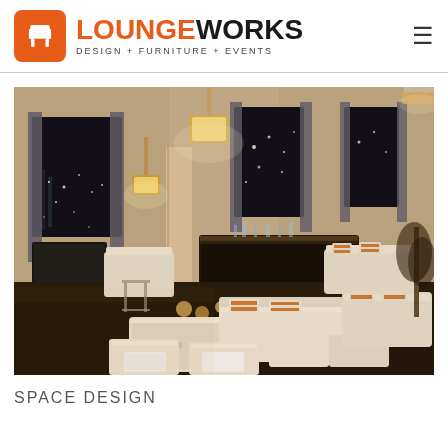LOUNGEWORKS DESIGN + FURNITURE + EVENTS
[Figure (photo): Interior of a luxury event lounge space with warm lighting, white upholstered sofas and ottomans with striped accent pillows, a dark bar in the background, tall pendant and flush-mount crystal light fixtures, large windows with dark curtains showing a city skyline at night, and patterned carpet flooring.]
SPACE DESIGN